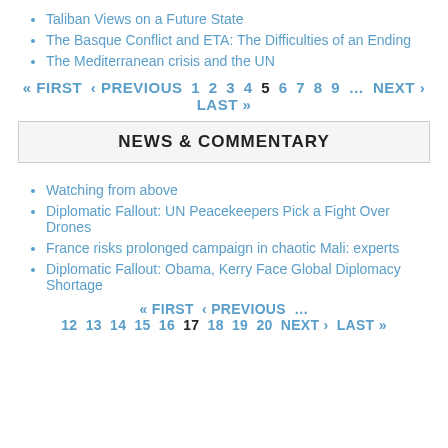Taliban Views on a Future State
The Basque Conflict and ETA: The Difficulties of an Ending
The Mediterranean crisis and the UN
« FIRST ‹ PREVIOUS 1 2 3 4 5 6 7 8 9 … NEXT › LAST »
NEWS & COMMENTARY
Watching from above
Diplomatic Fallout: UN Peacekeepers Pick a Fight Over Drones
France risks prolonged campaign in chaotic Mali: experts
Diplomatic Fallout: Obama, Kerry Face Global Diplomacy Shortage
« FIRST ‹ PREVIOUS … 12 13 14 15 16 17 18 19 20 NEXT › LAST »